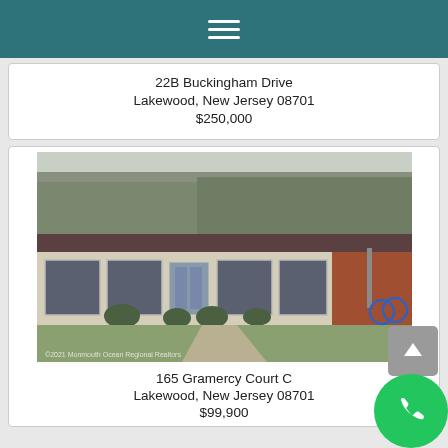Navigation menu icon
22B Buckingham Drive
Lakewood, New Jersey 08701
$250,000
[Figure (photo): Exterior photo of a single-story ranch-style home with large windows, white trim, brick accent, front lawn, and walkway. Watermark: ©2021 Monmouth Ocean Regional Realtors]
165 Gramercy Court C
Lakewood, New Jersey 08701
$99,900